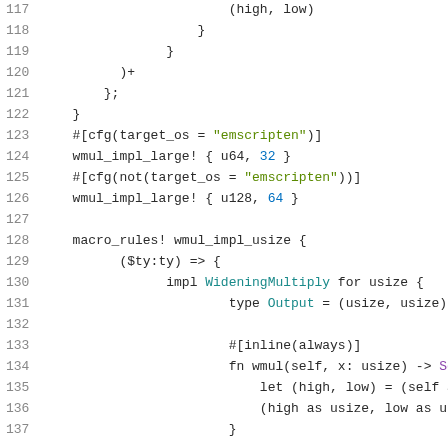[Figure (screenshot): Source code listing in Rust, lines 117–137, showing macro_rules and impl blocks with syntax highlighting. Dark background numbers, green strings, teal/blue keywords.]